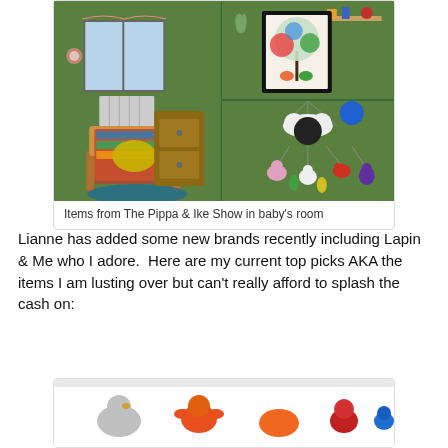[Figure (photo): Collage of three photos showing a baby's room with green walls, decorative items from The Pippa & Ike Show: left photo shows a chair with colorful blanket, top-right shows a framed poster and wall decor, bottom-right shows a hanging mobile with animal characters.]
Items from The Pippa & Ike Show in baby's room
Lianne has added some new brands recently including Lapin & Me who I adore.  Here are my current top picks AKA the items I am lusting over but can't really afford to splash the cash on:
[Figure (photo): Partial image showing colorful animal toys/figurines including what appears to be a lobster and other creatures in orange, red, and other bright colors.]